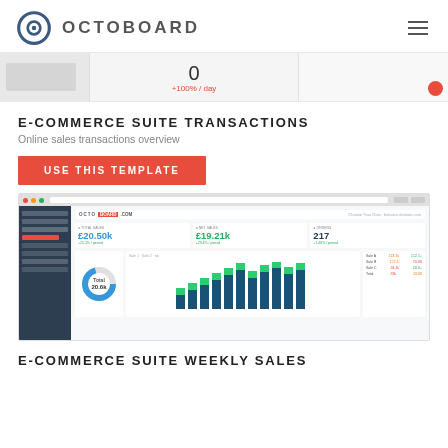OCTOBOARD
[Figure (screenshot): Partial screenshot of an Octoboard dashboard showing a metric card with value 0 and +100%/day indicator]
E-COMMERCE SUITE TRANSACTIONS
Online sales transactions overview
USE THIS TEMPLATE
[Figure (screenshot): Screenshot of Octoboard e-commerce dashboard showing metrics: Total Sales £20.50k +25.1%/period, Net Sales £19.21k +29.4%/period, Orders 217 +1.46%/period, and bar charts with sales data]
E-COMMERCE SUITE WEEKLY SALES